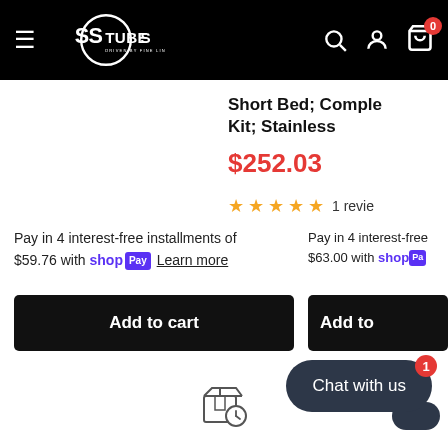SS Tubes - Driven By Fine Lines
Short Bed; Complete Kit; Stainless
$252.03
★★★★★ 1 review
Pay in 4 interest-free installments of $59.76 with shop Pay Learn more
Add to cart
Pay in 4 interest-free installments of $63.00 with shop Pay
Add to
[Figure (other): Package/shipping box icon with a clock]
Chat with us